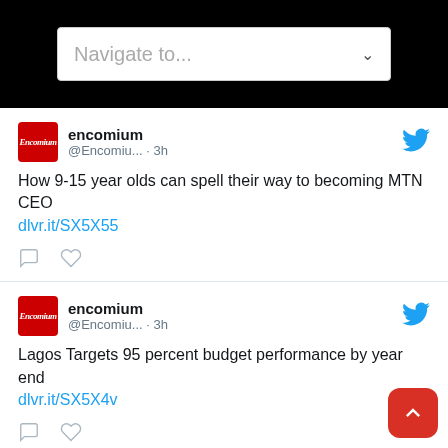Navigate to...
[Figure (screenshot): Tweet from @Encomiium · 3h: How 9-15 year olds can spell their way to becoming MTN CEO dlvr.it/SX5X55]
[Figure (screenshot): Tweet from @Encomiium · 3h: Lagos Targets 95 percent budget performance by year end dlvr.it/SX5X4v]
[Figure (screenshot): Tweet from @Encomiium · 3h (partial)]